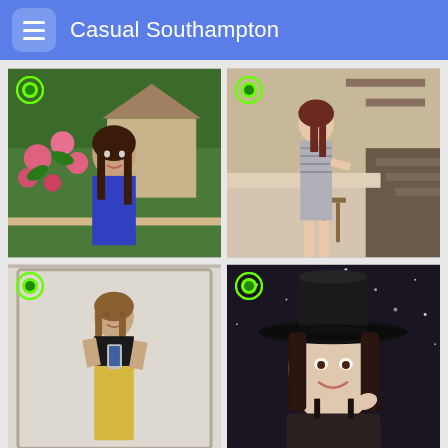Casual Southampton
[Figure (photo): Young woman with long dark hair wearing blue dress, standing in front of rose bushes and a house, green online indicator in top-left corner]
[Figure (photo): Young woman in short grey striped dress standing in a kitchen/indoor setting, green online indicator in top-left corner]
[Figure (photo): Young woman with long straight hair in black crop top and yellow pants, taking a mirror selfie with phone, green online indicator in top-left corner]
[Figure (photo): Young woman wearing a large black witch hat, smiling at the camera in a sparkly background setting, green online indicator in top-left corner]